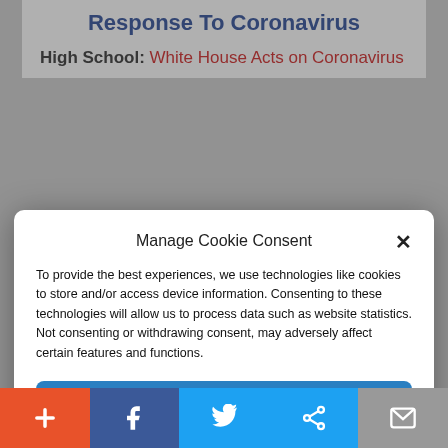Response To Coronavirus
High School: White House Acts on Coronavirus
Manage Cookie Consent
To provide the best experiences, we use technologies like cookies to store and/or access device information. Consenting to these technologies will allow us to process data such as website statistics. Not consenting or withdrawing consent, may adversely affect certain features and functions.
Accept
Cookie Policy   Privacy Policy
[Figure (photo): Partial view of a woman with blonde hair, circular cropped photo]